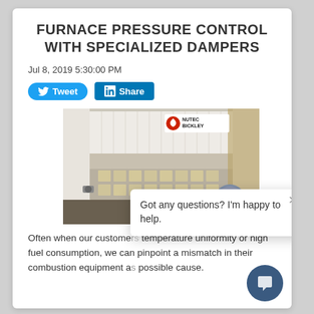FURNACE PRESSURE CONTROL WITH SPECIALIZED DAMPERS
Jul 8, 2019 5:30:00 PM
[Figure (screenshot): Social share buttons: Tweet (Twitter) and Share (LinkedIn)]
[Figure (photo): Photo of an industrial furnace interior showing ceramic fiber lining and metal parts, with Nutec Bickley logo watermark]
Got any questions? I'm happy to help.
Often when our customers complain about temperature uniformity or high fuel consumption, we can pinpoint a mismatch in their combustion equipment as a possible cause.